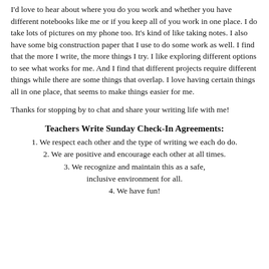I'd love to hear about where you do you work and whether you have different notebooks like me or if you keep all of you work in one place. I do take lots of pictures on my phone too. It's kind of like taking notes. I also have some big construction paper that I use to do some work as well. I find that the more I write, the more things I try. I like exploring different options to see what works for me. And I find that different projects require different things while there are some things that overlap. I love having certain things all in one place, that seems to make things easier for me.
Thanks for stopping by to chat and share your writing life with me!
Teachers Write Sunday Check-In Agreements:
1. We respect each other and the type of writing we each do do.
2. We are positive and encourage each other at all times.
3. We recognize and maintain this as a safe, inclusive environment for all.
4. We have fun!